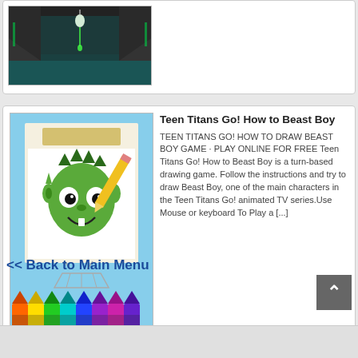[Figure (screenshot): Top portion of a card showing a dark game screenshot with teal/dark environment and a character.]
[Figure (illustration): Teen Titans Go! How to Beast Boy game thumbnail. Shows Beast Boy cartoon face being drawn on paper with crayons/markers below.]
Teen Titans Go! How to Beast Boy
TEEN TITANS GO! HOW TO DRAW BEAST BOY GAME · PLAY ONLINE FOR FREE Teen Titans Go! How to Beast Boy is a turn-based drawing game. Follow the instructions and try to draw Beast Boy, one of the main characters in the Teen Titans Go! animated TV series.Use Mouse or keyboard To Play a [...]
<< Back to Main Menu